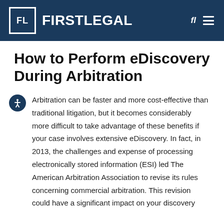FIRSTLEGAL
How to Perform eDiscovery During Arbitration
Arbitration can be faster and more cost-effective than traditional litigation, but it becomes considerably more difficult to take advantage of these benefits if your case involves extensive eDiscovery. In fact, in 2013, the challenges and expense of processing electronically stored information (ESI) led The American Arbitration Association to revise its rules concerning commercial arbitration. This revision could have a significant impact on your discovery process.